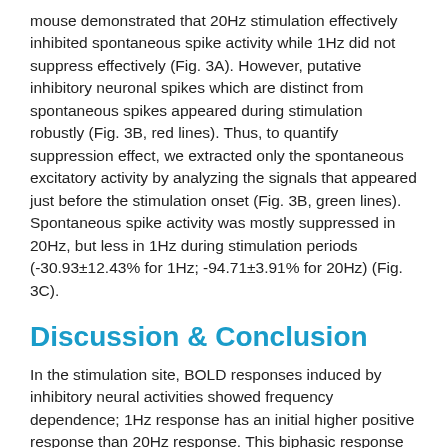mouse demonstrated that 20Hz stimulation effectively inhibited spontaneous spike activity while 1Hz did not suppress effectively (Fig. 3A). However, putative inhibitory neuronal spikes which are distinct from spontaneous spikes appeared during stimulation robustly (Fig. 3B, red lines). Thus, to quantify suppression effect, we extracted only the spontaneous excitatory activity by analyzing the signals that appeared just before the stimulation onset (Fig. 3B, green lines). Spontaneous spike activity was mostly suppressed in 20Hz, but less in 1Hz during stimulation periods (-30.93±12.43% for 1Hz; -94.71±3.91% for 20Hz) (Fig. 3C).
Discussion & Conclusion
In the stimulation site, BOLD responses induced by inhibitory neural activities showed frequency dependence; 1Hz response has an initial higher positive response than 20Hz response. This biphasic response may be due to the intrinsic hemodynamic properties by sub-type inhibitory neural activities7, and inhibition/excitation imbalance. Negative BOLD responses were observed in the functionally connected regions. This is likely due to reduced projection of spontaneous activities from the stimulation site by the